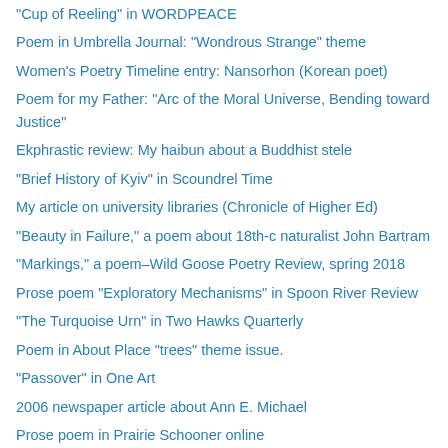"Cup of Reeling" in WORDPEACE
Poem in Umbrella Journal: "Wondrous Strange" theme
Women's Poetry Timeline entry: Nansorhon (Korean poet)
Poem for my Father: "Arc of the Moral Universe, Bending toward Justice"
Ekphrastic review: My haibun about a Buddhist stele
"Brief History of Kyiv" in Scoundrel Time
My article on university libraries (Chronicle of Higher Ed)
"Beauty in Failure," a poem about 18th-c naturalist John Bartram
"Markings," a poem–Wild Goose Poetry Review, spring 2018
Prose poem "Exploratory Mechanisms" in Spoon River Review
"The Turquoise Urn" in Two Hawks Quarterly
Poem in About Place "trees" theme issue.
"Passover" in One Art
2006 newspaper article about Ann E. Michael
Prose poem in Prairie Schooner online
My Christopher Smart tribute "In Jubilate Pueris" (qarrtsiluni's Imitation-themed issue) with audio
Childhood dreams (2001 newspaper column essay)
"Wren Poems" in About Place: a poem